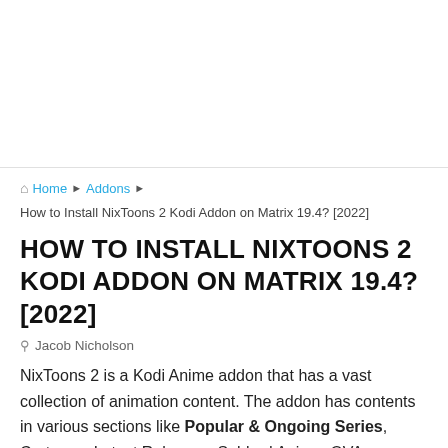[Figure (other): Advertisement/banner placeholder area at the top of the page]
Home › Addons › How to Install NixToons 2 Kodi Addon on Matrix 19.4? [2022]
HOW TO INSTALL NIXTOONS 2 KODI ADDON ON MATRIX 19.4? [2022]
Jacob Nicholson
NixToons 2 is a Kodi Anime addon that has a vast collection of animation content. The addon has contents in various sections like Popular & Ongoing Series, Cartoons, Latest Releases, Subbed Anime, OVA